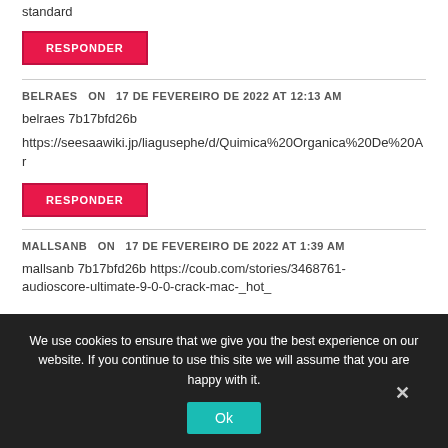standard
RESPONDER
BELRAES   ON   17 DE FEVEREIRO DE 2022 AT 12:13 AM
belraes 7b17bfd26b
https://seesaawiki.jp/liagusephe/d/Quimica%20Organica%20De%20Ar
RESPONDER
MALLSANB   ON   17 DE FEVEREIRO DE 2022 AT 1:39 AM
mallsanb 7b17bfd26b https://coub.com/stories/3468761-audioscore-ultimate-9-0-0-crack-mac-_hot_
We use cookies to ensure that we give you the best experience on our website. If you continue to use this site we will assume that you are happy with it.
Ok